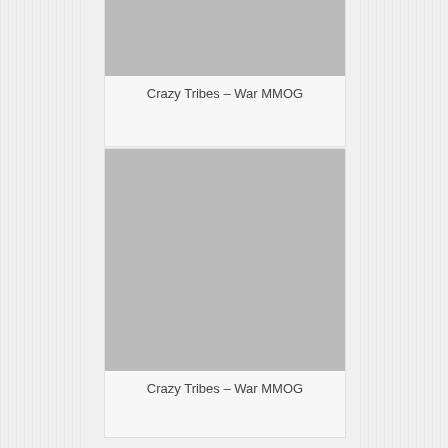[Figure (photo): Gray placeholder image for Crazy Tribes – War MMOG (top card, partially visible)]
Crazy Tribes – War MMOG
[Figure (photo): Gray placeholder image for Crazy Tribes – War MMOG (bottom card)]
Crazy Tribes – War MMOG